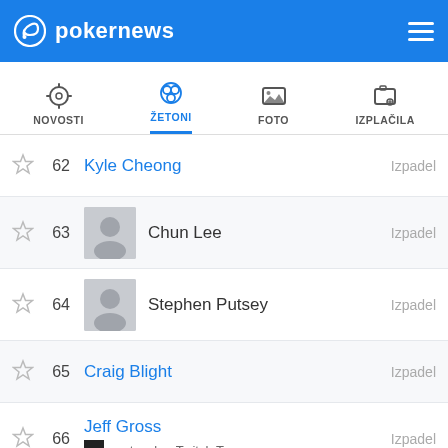pokernews
NOVOSTI | ŽETONI | FOTO | IZPLAČILA
62 Kyle Cheong Izpadel
63 Chun Lee Izpadel
64 Stephen Putsey Izpadel
65 Craig Blight Izpadel
66 Jeff Gross — partypoker Twitch Team Izpadel